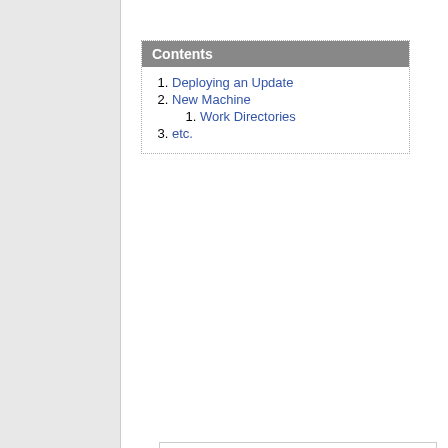Contents: 1. Deploying an Update, 2. New Machine, 2.1. Work Directories, 3. etc.
In this document, $HOST is equivalent to $(hostname) (i.e. the first part of the fqdn, e.g. fritz for fritz.hcoop.net